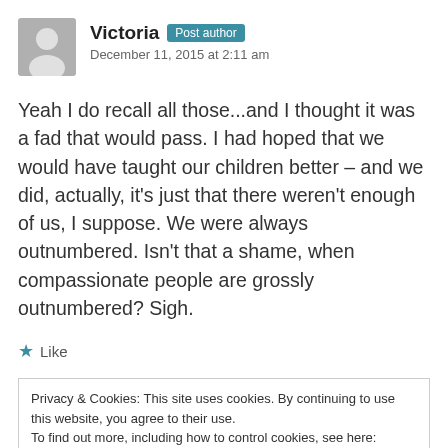Victoria Post author
December 11, 2015 at 2:11 am
Yeah I do recall all those...and I thought it was a fad that would pass. I had hoped that we would have taught our children better – and we did, actually, it's just that there weren't enough of us, I suppose. We were always outnumbered. Isn't that a shame, when compassionate people are grossly outnumbered? Sigh.
★ Like
Privacy & Cookies: This site uses cookies. By continuing to use this website, you agree to their use.
To find out more, including how to control cookies, see here: Cookie Policy
Close and accept